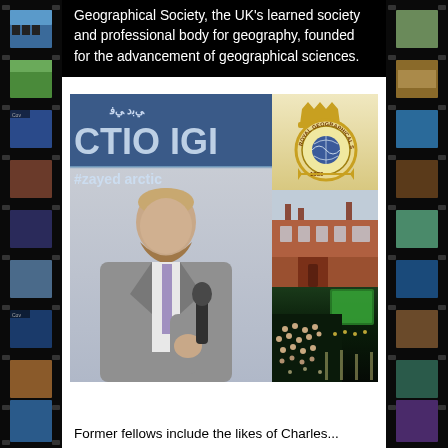Geographical Society, the UK's learned society and professional body for geography, founded for the advancement of geographical sciences.
[Figure (photo): Composite image: left panel shows a man in grey suit speaking at a microphone with Arctic expedition branding (#zayed_arctic) in the background; top-right shows the Royal Geographical Society badge/crest (1830); middle-right shows a red brick Victorian building (RGS headquarters); bottom-right shows an auditorium filled with audience watching a green screen presentation.]
Former fellows include the likes of Charles...